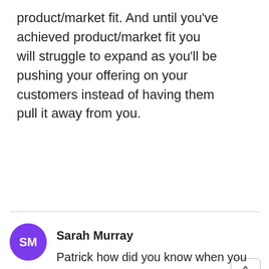product/market fit. And until you've achieved product/market fit you will struggle to expand as you'll be pushing your offering on your customers instead of having them pull it away from you.
[Figure (other): Thumbs up button icon (upvote)]
1
[Figure (other): Thumbs down button icon (downvote)]
[Figure (other): Gear/settings icon]
[Figure (other): User avatar circle with initials SM for Sarah Murray]
Sarah Murray
Patrick how did you know when you had achieved a market fit